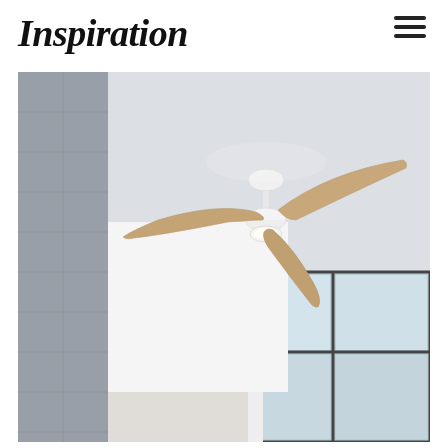Inspiration
[Figure (photo): A modern ceiling fan with three curved wooden/beige blades and a white motor housing with integrated LED light, mounted on a white ceiling. The room below shows a modern interior with a concrete accent wall on the left, white walls, a white column, and large floor-to-ceiling windows on the right letting in natural light.]